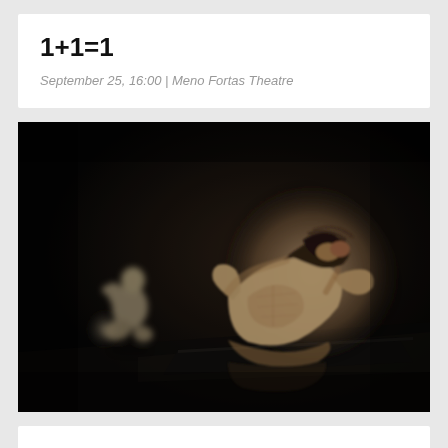1+1=1
September 25, 16:00 | Meno Fortas Theatre
[Figure (photo): Dark theatrical performance photo showing two figures — a distant blurred small figure crouching on the left, and a foreground illuminated muscular figure bending forward with head down and hands clasped behind neck, on a dark stage. Black and white / sepia toned.]
The Picture of Dorian Gray